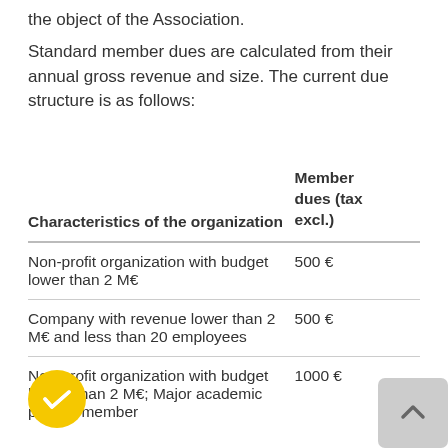the object of the Association.
Standard member dues are calculated from their annual gross revenue and size. The current due structure is as follows:
| Characteristics of the organization | Member dues (tax excl.) |
| --- | --- |
| Non-profit organization with budget lower than 2 M€ | 500 € |
| Company with revenue lower than 2 M€ and less than 20 employees | 500 € |
| Non-profit organization with budget higher than 2 M€; Major academic partner member | 1000 € |